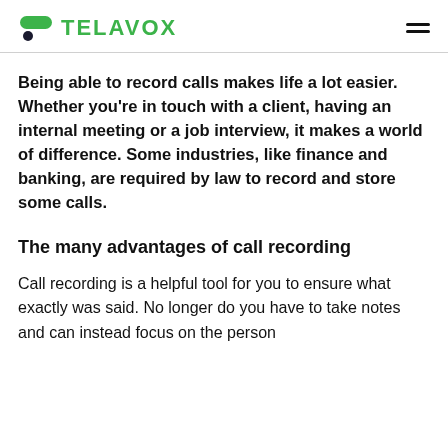TELAVOX
Being able to record calls makes life a lot easier. Whether you’re in touch with a client, having an internal meeting or a job interview, it makes a world of difference. Some industries, like finance and banking, are required by law to record and store some calls.
The many advantages of call recording
Call recording is a helpful tool for you to ensure what exactly was said. No longer do you have to take notes and can instead focus on the person